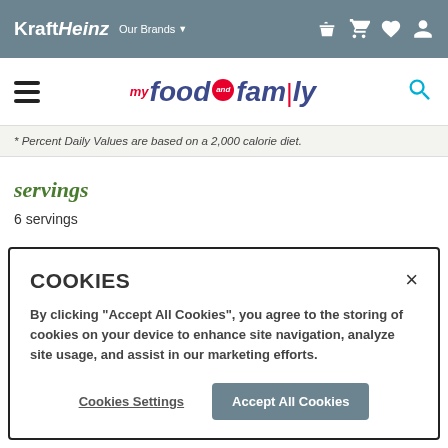Kraft Heinz | Our Brands
[Figure (logo): My Food and Family website logo with hamburger menu and search icon]
* Percent Daily Values are based on a 2,000 calorie diet.
servings
6 servings
COOKIES
By clicking "Accept All Cookies", you agree to the storing of cookies on your device to enhance site navigation, analyze site usage, and assist in our marketing efforts.
Cookies Settings | Accept All Cookies